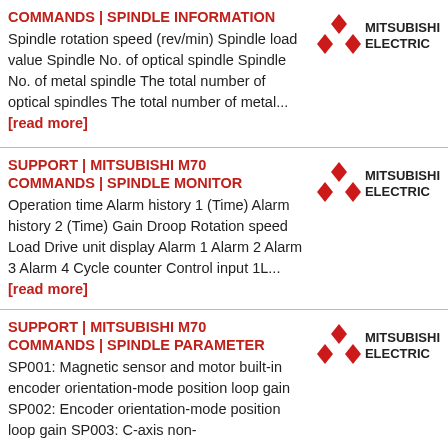COMMANDS | SPINDLE INFORMATION
Spindle rotation speed (rev/min) Spindle load value Spindle No. of optical spindle Spindle No. of metal spindle The total number of optical spindles The total number of metal... [read more]
[Figure (logo): Mitsubishi Electric logo with red diamond/star mark and text MITSUBISHI ELECTRIC]
SUPPORT | MITSUBISHI M70 COMMANDS | SPINDLE MONITOR
Operation time Alarm history 1 (Time) Alarm history 2 (Time) Gain Droop Rotation speed Load Drive unit display Alarm 1 Alarm 2 Alarm 3 Alarm 4 Cycle counter Control input 1L... [read more]
[Figure (logo): Mitsubishi Electric logo with red diamond/star mark and text MITSUBISHI ELECTRIC]
SUPPORT | MITSUBISHI M70 COMMANDS | SPINDLE PARAMETER
SP001: Magnetic sensor and motor built-in encoder orientation-mode position loop gain SP002: Encoder orientation-mode position loop gain SP003: C-axis non-
[Figure (logo): Mitsubishi Electric logo with red diamond/star mark and text MITSUBISHI ELECTRIC]